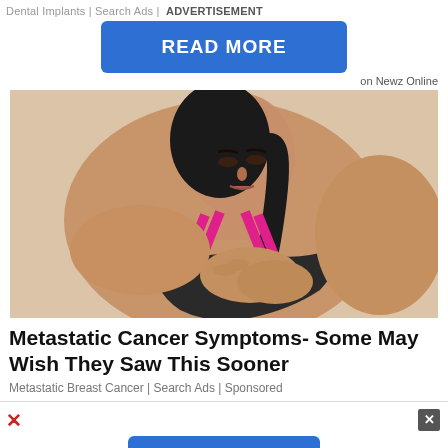Dental Implants | Search Ads | ADVERTISEMENT
[Figure (other): Blue 'READ MORE' button advertisement]
on Newz Online
[Figure (photo): Young woman in pink and black sports bra holding her chest, appearing to be in pain or discomfort, against a beige background]
Metastatic Cancer Symptoms- Some May Wish They Saw This Sooner
Metastatic Breast Cancer | Search Ads | Sponsored
[Figure (other): Blue 'NEXT' button with double chevron arrow, advertisement]
on Newz Online